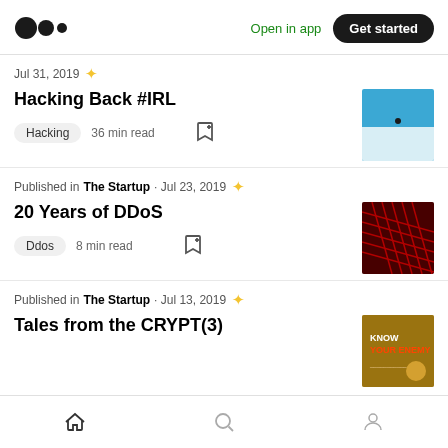Medium logo | Open in app | Get started
Jul 31, 2019 ★
Hacking Back #IRL
Hacking  36 min read
Published in The Startup · Jul 23, 2019 ★
20 Years of DDoS
Ddos  8 min read
Published in The Startup · Jul 13, 2019 ★
Tales from the CRYPT(3)
Home | Search | Profile